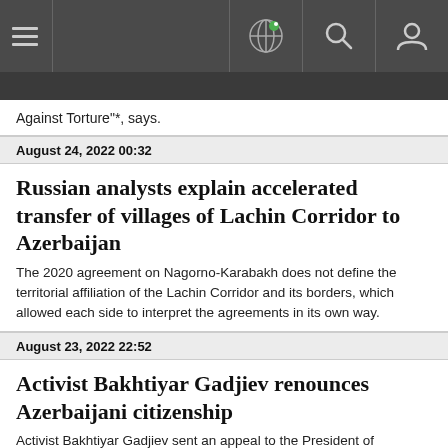Navigation bar with hamburger menu, globe icon, search icon, user icon
Against Torture"*, says.
August 24, 2022 00:32
Russian analysts explain accelerated transfer of villages of Lachin Corridor to Azerbaijan
The 2020 agreement on Nagorno-Karabakh does not define the territorial affiliation of the Lachin Corridor and its borders, which allowed each side to interpret the agreements in its own way.
August 23, 2022 22:52
Activist Bakhtiyar Gadjiev renounces Azerbaijani citizenship
Activist Bakhtiyar Gadjiev sent an appeal to the President of Azerbaijan to renounce the citizenship of the country. The activist has explained his decision by receiving threats from the local law enforcement bodies.
August 23, 2022 22:49